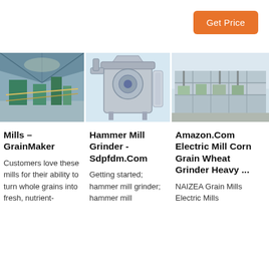Get Price
[Figure (photo): Industrial grain mill machine inside a large warehouse facility]
[Figure (photo): Hammer mill grinder machine, stainless steel, standalone unit]
[Figure (photo): Large industrial grain processing mill complex, outdoor view]
Mills – GrainMaker
Customers love these mills for their ability to turn whole grains into fresh, nutrient-
Hammer Mill Grinder - Sdpfdm.Com
Getting started; hammer mill grinder; hammer mill
Amazon.Com Electric Mill Corn Grain Wheat Grinder Heavy ...
NAIZEA Grain Mills Electric Mills